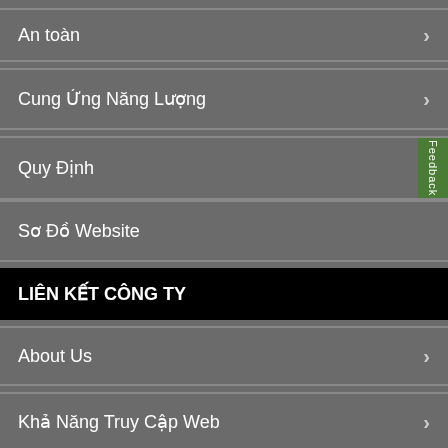An toàn
Cung Ứng Năng Lượng
Quy Định
Sơ Đồ Website
LIÊN KẾT CÔNG TY
About Us
Khả Năng Truy Cập Web